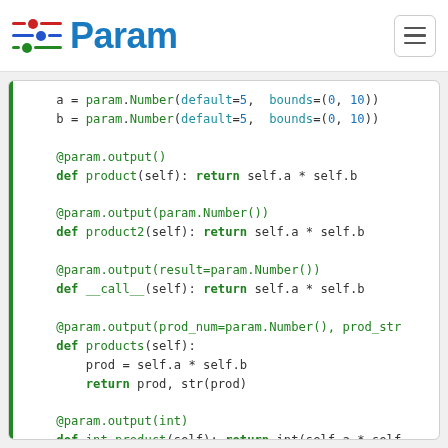[Figure (logo): Param library logo with sliders icon and blue 'Param' text]
[Figure (screenshot): Hamburger menu button]
a = param.Number(default=5, bounds=(0, 10))
    b = param.Number(default=5, bounds=(0, 10))

    @param.output()
    def product(self): return self.a * self.b

    @param.output(param.Number())
    def product2(self): return self.a * self.b

    @param.output(result=param.Number())
    def __call__(self): return self.a * self.b

    @param.output(prod_num=param.Number(), prod_str
    def products(self):
        prod = self.a * self.b
        return prod, str(prod)

    @param.output(int)
    def int_product(self): return int(self.a * self

q=Q()
q